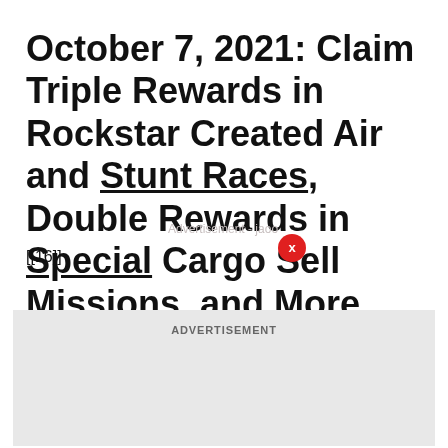October 7, 2021: Claim Triple Rewards in Rockstar Created Air and Stunt Races, Double Rewards in Special Cargo Sell Missions, and More
[[16]]
[Figure (other): Advertisement banner placeholder box with label ADVERTISEMENT]